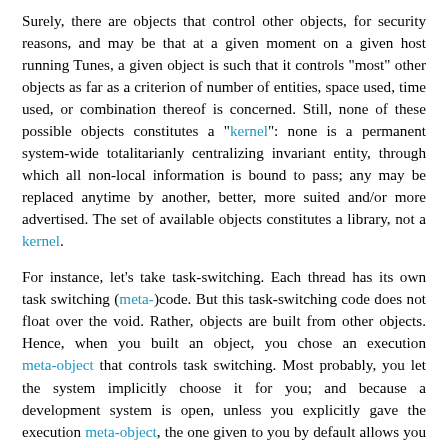Surely, there are objects that control other objects, for security reasons, and may be that at a given moment on a given host running Tunes, a given object is such that it controls "most" other objects as far as a criterion of number of entities, space used, time used, or combination thereof is concerned. Still, none of these possible objects constitutes a "kernel": none is a permanent system-wide totalitarianly centralizing invariant entity, through which all non-local information is bound to pass; any may be replaced anytime by another, better, more suited and/or more advertised. The set of available objects constitutes a library, not a kernel.
For instance, let's take task-switching. Each thread has its own task switching (meta-)code. But this task-switching code does not float over the void. Rather, objects are built from other objects. Hence, when you built an object, you chose an execution meta-object that controls task switching. Most probably, you let the system implicitly choose it for you; and because a development system is open, unless you explicitly gave the execution meta-object, the one given to you by default allows you to later migrate your object to another meta-object, that will better suit the needs that you've realized you had in the meantime.
As an example, typical commands run from the UI will be interpreted by a shell that cooperatively switches to other tasks